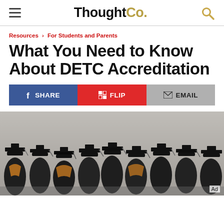ThoughtCo.
Resources › For Students and Parents
What You Need to Know About DETC Accreditation
SHARE | FLIP | EMAIL
[Figure (photo): Graduates wearing black caps and gowns viewed from behind, with some wearing orange stoles]